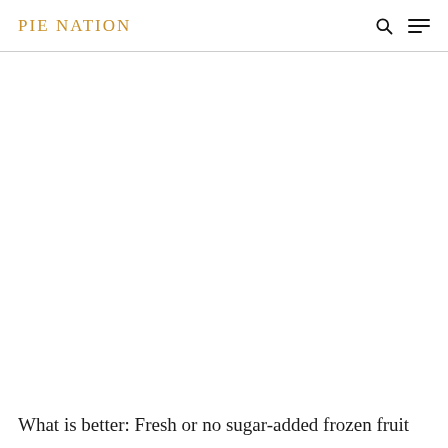PIE NATION
[Figure (photo): Large white/blank image area below the header, presumably a food/pie photograph that is not rendered]
What is better: Fresh or no sugar-added frozen fruit